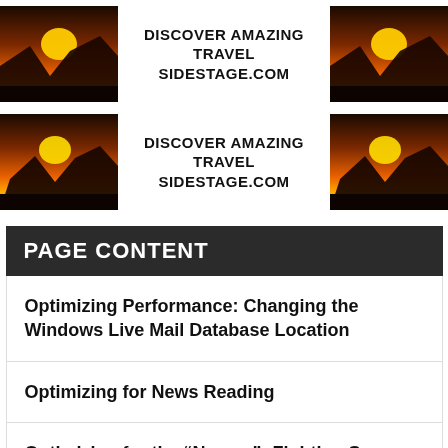[Figure (illustration): Two advertisement banners for sidestage.com travel site. Each banner shows two sunset/mountain photos on the left and right with centered text reading DISCOVER AMAZING TRAVEL SIDESTAGE.COM]
PAGE CONTENT
Optimizing Performance: Changing the Windows Live Mail Database Location
Optimizing for News Reading
Optimizing for the “Nerves”: Fighting Spam
Optimizing for Online and Offline